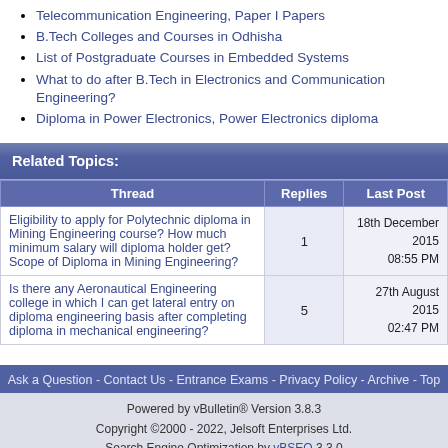Telecommunication Engineering, Paper I Papers
B.Tech Colleges and Courses in Odhisha
List of Postgraduate Courses in Embedded Systems
What to do after B.Tech in Electronics and Communication Engineering?
Diploma in Power Electronics, Power Electronics diploma
Related Topics:
| Thread | Replies | Last Post |
| --- | --- | --- |
| Eligibility to apply for Polytechnic diploma in Mining Engineering course? How much minimum salary will diploma holder get? Scope of Diploma in Mining Engineering? | 1 | 18th December 2015 08:55 PM |
| Is there any Aeronautical Engineering college in which I can get lateral entry on diploma engineering basis after completing diploma in mechanical engineering? | 5 | 27th August 2015 02:47 PM |
Ask a Question - Contact Us - Entrance Exams - Privacy Policy - Archive - Top
Powered by vBulletin® Version 3.8.3
Copyright ©2000 - 2022, Jelsoft Enterprises Ltd.
Search Engine Optimization by vBSEO 3.3.0